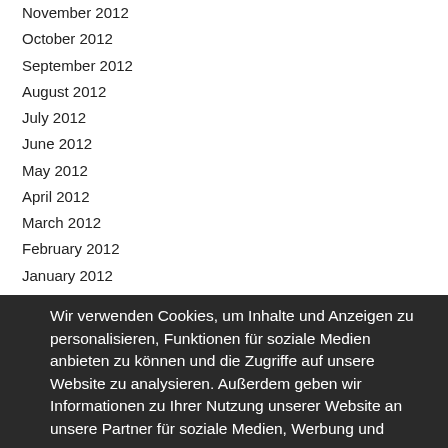November 2012
October 2012
September 2012
August 2012
July 2012
June 2012
May 2012
April 2012
March 2012
February 2012
January 2012
December 2011
November 2011
October 2011
September 2011
August 2011
July 2011
June 2011
May 2011
April 2011
March 2011
February 2011
Wir verwenden Cookies, um Inhalte und Anzeigen zu personalisieren, Funktionen für soziale Medien anbieten zu können und die Zugriffe auf unsere Website zu analysieren. Außerdem geben wir Informationen zu Ihrer Nutzung unserer Website an unsere Partner für soziale Medien, Werbung und